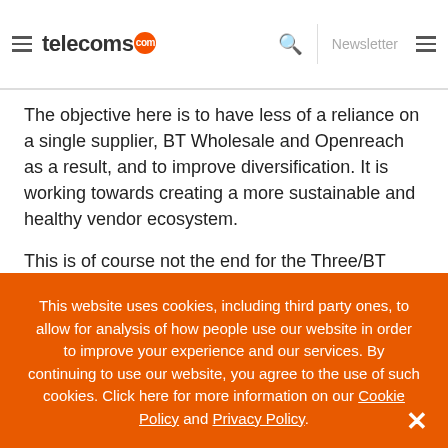telecoms.com | Newsletter
The objective here is to have less of a reliance on a single supplier, BT Wholesale and Openreach as a result, and to improve diversification. It is working towards creating a more sustainable and healthy vendor ecosystem.
This is of course not the end for the Three/BT relationship. CityFibre can offer services in certain regions across the UK
This website uses cookies, including third party ones, to allow for analysis of how people use our website in order to improve your experience and our services. By continuing to use our website, you agree to the use of such cookies. Click here for more information on our Cookie Policy and Privacy Policy.